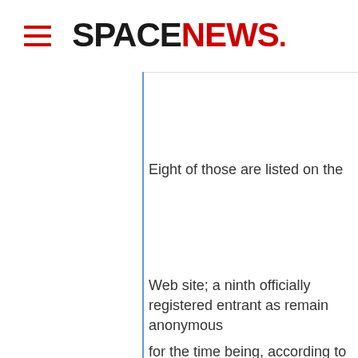SPACENEWS
Eight of those are listed on the
Web site; a ninth officially registered entrant as remain anonymous
for the time being, according to the